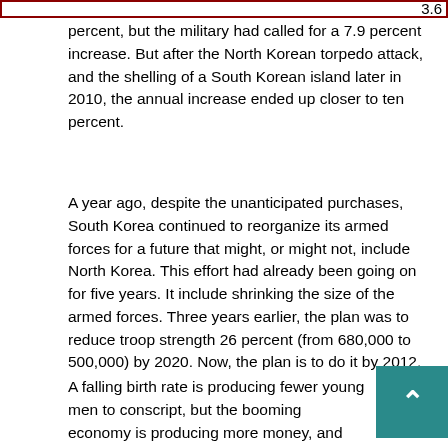3.6 percent, but the military had called for a 7.9 percent increase. But after the North Korean torpedo attack, and the shelling of a South Korean island later in 2010, the annual increase ended up closer to ten percent.
A year ago, despite the unanticipated purchases, South Korea continued to reorganize its armed forces for a future that might, or might not, include North Korea. This effort had already been going on for five years. It include shrinking the size of the armed forces. Three years earlier, the plan was to reduce troop strength 26 percent (from 680,000 to 500,000) by 2020. Now, the plan is to do it by 2012.
A falling birth rate is producing fewer young men to conscript, but the booming economy is producing more money, and technology, for more effective weapons and equipment that can replace soldiers.